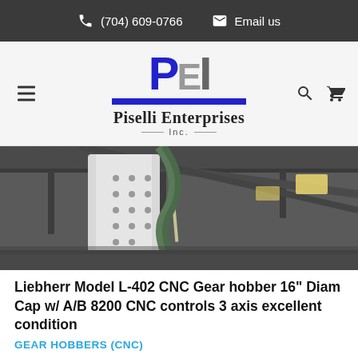(704) 609-0766  Email us
[Figure (logo): Piselli Enterprises Inc. logo with blue and gray PE initials and blue underbar]
[Figure (photo): Industrial warehouse photo showing a large white CNC gear hobbing machine with overhead lighting]
Liebherr Model L-402 CNC Gear hobber 16" Diam Cap w/ A/B 8200 CNC controls 3 axis excellent condition
GEAR HOBBERS (CNC)
Get Quote